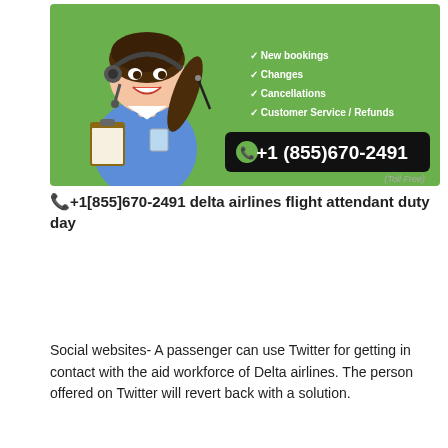[Figure (illustration): Green banner with cartoon female customer service agent wearing headset and holding clipboard, with checklist items (New bookings, Changes, Cancellations, Customer Service / Refunds) and phone number +1 (855)670-2491 (Toll Free) on black background]
+1[855]670-2491 delta airlines flight attendant duty day
Social websites- A passenger can use Twitter for getting in contact with the aid workforce of Delta airlines. The person offered on Twitter will revert back with a solution.